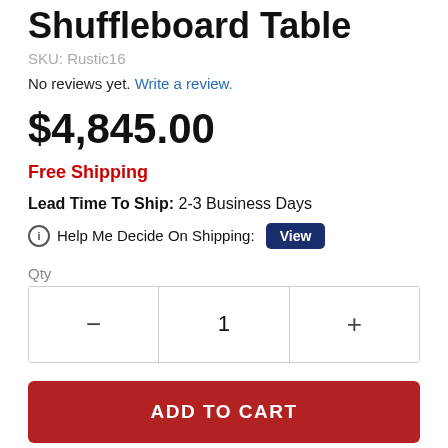Shuffleboard Table
SKU: Rustic16
No reviews yet. Write a review.
$4,845.00
Free Shipping
Lead Time To Ship: 2-3 Business Days
ⓘ Help Me Decide On Shipping: View
Qty
ADD TO CART